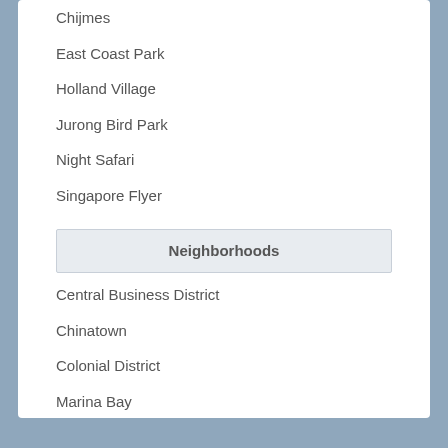Chijmes
East Coast Park
Holland Village
Jurong Bird Park
Night Safari
Singapore Flyer
Neighborhoods
Central Business District
Chinatown
Colonial District
Marina Bay
Orchard
Sentosa